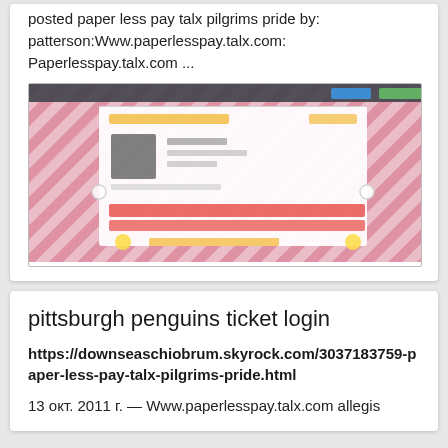posted paper less pay talx pilgrims pride by: patterson:Www.paperlesspay.talx.com: Paperlesspay.talx.com ...
[Figure (screenshot): A blurred screenshot of a webpage with pink diagonal stripe pattern background and a white popup/modal dialog in the center, featuring social media account information and red buttons.]
pittsburgh penguins ticket login
https://downseaschiobrum.skyrock.com/3037183759-paper-less-pay-talx-pilgrims-pride.html
13 окт. 2011 г. — Www.paperlesspay.talx.com allegis